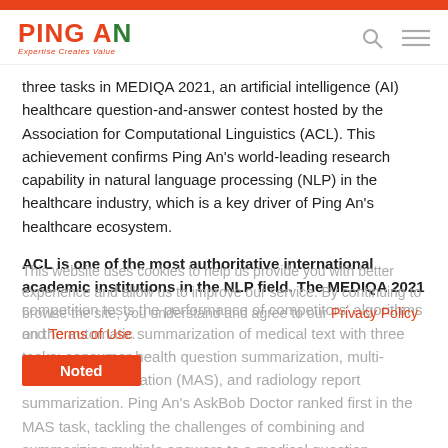PING AN — Expertise Creates Value
three tasks in MEDIQA 2021, an artificial intelligence (AI) healthcare question-and-answer contest hosted by the Association for Computational Linguistics (ACL). This achievement confirms Ping An's world-leading research capability in natural language processing (NLP) in the healthcare industry, which is a key driver of Ping An's healthcare ecosystem.
ACL is one of the most authoritative international academic institutions in the NLP field. The MEDIQA 2021 competition tests the performance of competitors' algorithms on the automatic summarization of medical text with three tasks: consumer health question summarization, multi-answer summarization (MAS), and radiology report summarization. Ping An's AskBob Doctor ranked first in the MAS task, tackling the challenges of combining and summarizing multiple answers to a medical question.
This website uses cookies to help us provide you with better experience and allow us to improve our service. By continuing to browse the site, you understand and agree to our Privacy Policy and Terms of Use.